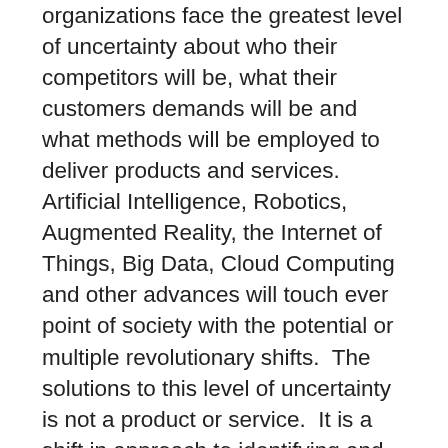organizations face the greatest level of uncertainty about who their competitors will be, what their customers demands will be and what methods will be employed to deliver products and services.  Artificial Intelligence, Robotics, Augmented Reality, the Internet of Things, Big Data, Cloud Computing and other advances will touch ever point of society with the potential or multiple revolutionary shifts.  The solutions to this level of uncertainty is not a product or service.  It is a shift in approach to identifying and solving problems.  We incorporate the disciplines of sociology, engineering, behavioral analysis, design thinking, business fundamentals and agility to develop customized outcome based solutions for clients.  Culture and preconceived ideas must be challenged to result in transformative results. The